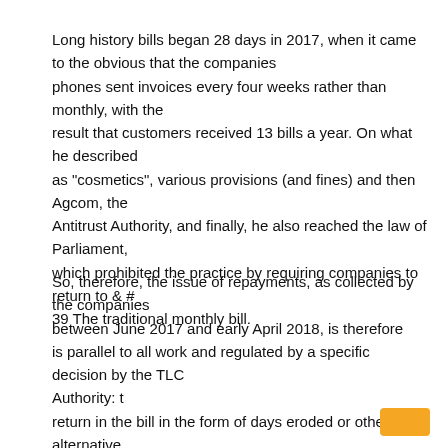Long history bills began 28 days in 2017, when it came to the obvious that the companies phones sent invoices every four weeks rather than monthly, with the result that customers received 13 bills a year. On what he described as "cosmetics", various provisions (and fines) and then Agcom, the Antitrust Authority, and finally, he also reached the law of Parliament, which prohibited the practice by requiring companies to return to & # 39 The traditional monthly bill.
So, therefore, the issue of repayments, as collected by the companies between June 2017 and early April 2018, is therefore is parallel to all work and regulated by a specific decision by the TLC Authority: t return in the bill in the form of days eroded or other alternative damages authorized by Agcom itself, t they had to arrive by 31 December 2018, moved a term later to 31 March 2019 and finally until the end of May. Ultimately, an appeal was made to the Palazzo Spada regime that considered significant "the long time that has passed since the management verification default"